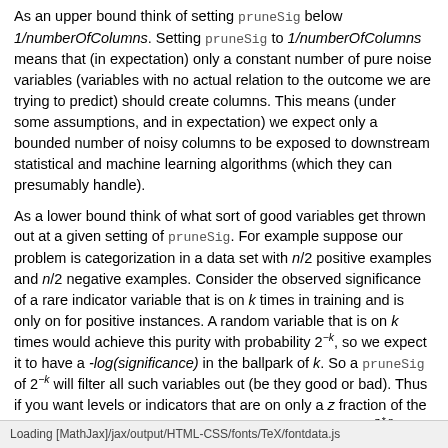As an upper bound think of setting pruneSig below 1/numberOfColumns. Setting pruneSig to 1/numberOfColumns means that (in expectation) only a constant number of pure noise variables (variables with no actual relation to the outcome we are trying to predict) should create columns. This means (under some assumptions, and in expectation) we expect only a bounded number of noisy columns to be exposed to downstream statistical and machine learning algorithms (which they can presumably handle).
As a lower bound think of what sort of good variables get thrown out at a given setting of pruneSig. For example suppose our problem is categorization in a data set with n/2 positive examples and n/2 negative examples. Consider the observed significance of a rare indicator variable that is on k times in training and is only on for positive instances. A random variable that is on k times would achieve this purity with probability 2^{-k}, so we expect it to have a -log(significance) in the ballpark of k. So a pruneSig of 2^{-k} will filter all such variables out (be they good or bad). Thus if you want levels or indicators that are on only a z fraction of the time on a training set of size n you want pruneSig >> 2^{-z*n}.
Example:
Loading [MathJax]/jax/output/HTML-CSS/fonts/TeX/fontdata.js